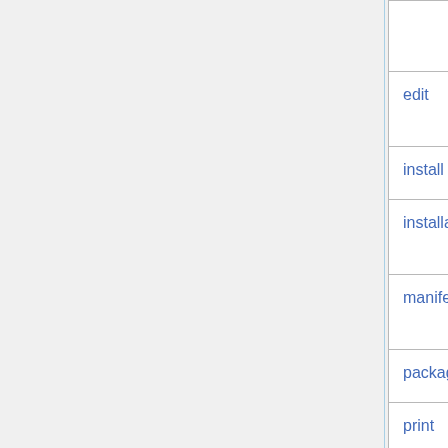| Command | Description |
| --- | --- |
| (partial) | targets. |
| edit | Manage build and package configuration. |
| install | Fetch and install package archives. |
| installables | Manipulate installable package entries in the autobuild configuration. |
| manifest | Manipulate manifest entries to the autobuild configuration. |
| package | Create an archive of build output. |
| print | Print |